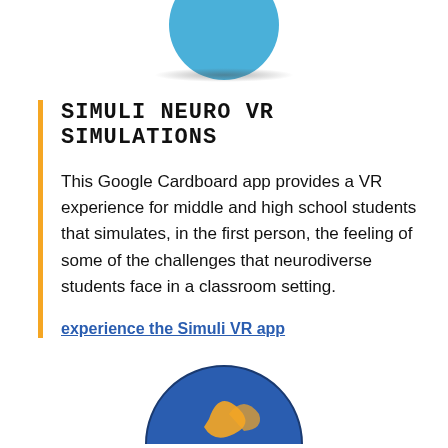[Figure (illustration): Blue circle partially visible at top of page, with shadow ellipse below it]
SIMULI NEURO VR SIMULATIONS
This Google Cardboard app provides a VR experience for middle and high school students that simulates, in the first person, the feeling of some of the challenges that neurodiverse students face in a classroom setting.
experience the Simuli VR app
[Figure (illustration): Partial blue circle with decorative design visible at bottom of page]